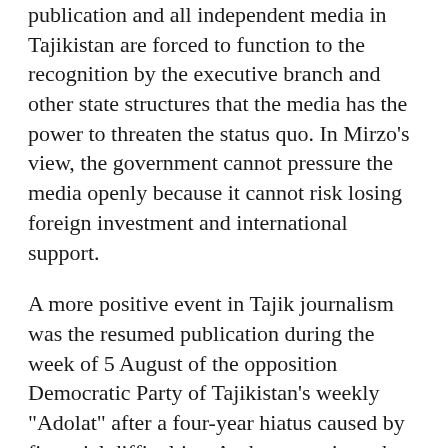publication and all independent media in Tajikistan are forced to function to the recognition by the executive branch and other state structures that the media has the power to threaten the status quo. In Mirzo's view, the government cannot pressure the media openly because it cannot risk losing foreign investment and international support.
A more positive event in Tajik journalism was the resumed publication during the week of 5 August of the opposition Democratic Party of Tajikistan's weekly "Adolat" after a four-year hiatus caused by financial difficulties. At the same time, the party's publication "Oriyon" has reappeared in Sughd Oblast. The reappearance of the party's two publications coincides with the 14th anniversary of the founding of the party, which was part of the United Tajik Opposition during the years of the Tajik